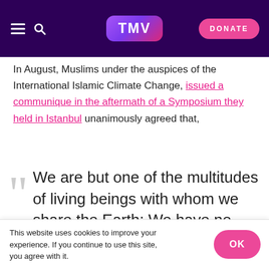TMV — DONATE
In August, Muslims under the auspices of the International Islamic Climate Change, issued a communique in the aftermath of a Symposium they held in Istanbul unanimously agreed that,
We are but one of the multitudes of living beings with whom we share the Earth; We have no right to oppress the rest of creation or cause it
This website uses cookies to improve your experience. If you continue to use this site, you agree with it.